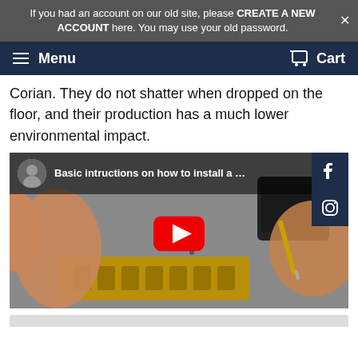If you had an account on our old site, please CREATE A NEW ACCOUNT here. You may use your old password.
Menu   Cart
Corian. They do not shatter when dropped on the floor, and their production has a much lower environmental impact.
[Figure (screenshot): YouTube video thumbnail showing hands installing a harmonica reed plate on a fabric background. Video title: 'Basic intructions on how to install a ...' with a red YouTube play button in the center. Social media icons (Facebook, Instagram) overlay on the right side.]